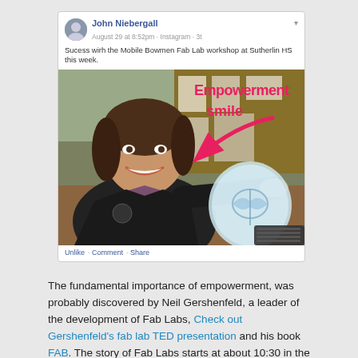[Figure (screenshot): Facebook post by John Niebergall dated August 29 at 8:52pm via Instagram, showing a photo of a smiling woman holding a laser-cut acrylic piece with a moth/butterfly design, with overlaid text 'Empowerment smile' and a pink arrow. Caption: 'Sucess wirh the Mobile Bowmen Fab Lab workshop at Sutherlin HS this week.' Actions: Unlike · Comment · Share]
The fundamental importance of empowerment, was probably discovered by Neil Gershenfeld, a leader of the development of Fab Labs, Check out Gershenfeld's fab lab TED presentation and his book FAB. The story of Fab Labs starts at about 10:30 in the TED video, this clip is